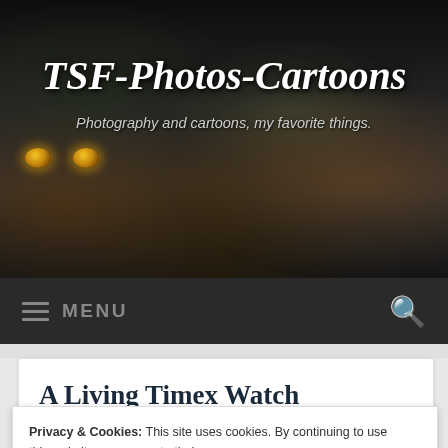[Figure (photo): Website header banner with dark background showing a wild animal (likely a cat/leopard) peering through rocks and foliage, with glowing yellow eyes visible]
TSF-Photos-Cartoons
Photography and cartoons, my favorite things.
≡ MENU
A Living Timex Watch
Privacy & Cookies: This site uses cookies. By continuing to use this website, you agree to their use.
To find out more, including how to control cookies, see here: Cookie Policy
Close and accept